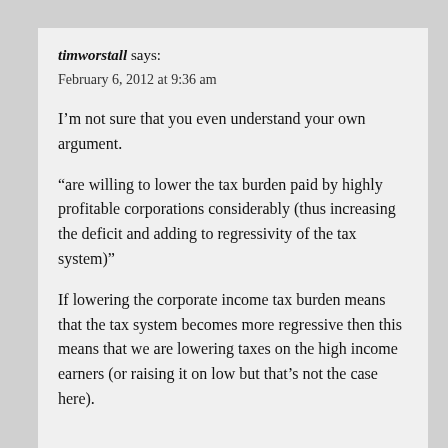timworstall says:
February 6, 2012 at 9:36 am
I'm not sure that you even understand your own argument.
“are willing to lower the tax burden paid by highly profitable corporations considerably (thus increasing the deficit and adding to regressivity of the tax system)”
If lowering the corporate income tax burden means that the tax system becomes more regressive then this means that we are lowering taxes on the high income earners (or raising it on low but that’s not the case here).